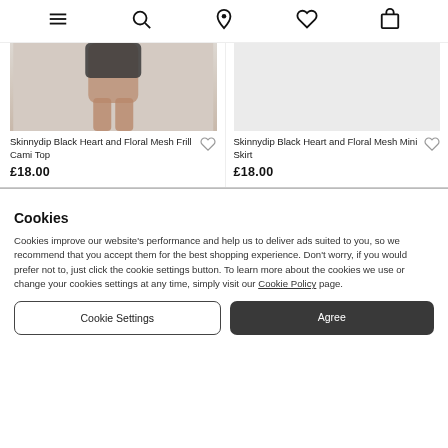Navigation bar with menu, search, location, wishlist, and bag icons
[Figure (photo): Product image of Skinnydip Black Heart and Floral Mesh Frill Cami Top, showing model's lower body]
Skinnydip Black Heart and Floral Mesh Frill Cami Top
£18.00
[Figure (photo): Product image of Skinnydip Black Heart and Floral Mesh Mini Skirt, light grey background]
Skinnydip Black Heart and Floral Mesh Mini Skirt
£18.00
Cookies
Cookies improve our website's performance and help us to deliver ads suited to you, so we recommend that you accept them for the best shopping experience. Don't worry, if you would prefer not to, just click the cookie settings button. To learn more about the cookies we use or change your cookies settings at any time, simply visit our Cookie Policy page.
Cookie Settings
Agree